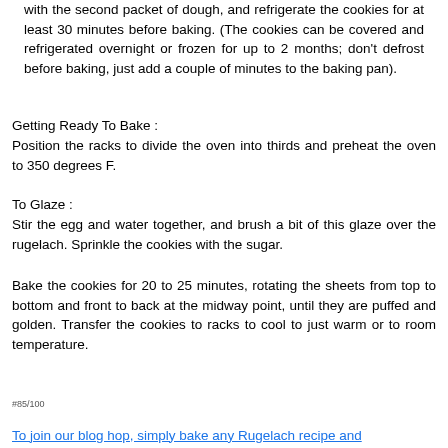with the second packet of dough, and refrigerate the cookies for at least 30 minutes before baking. (The cookies can be covered and refrigerated overnight or frozen for up to 2 months; don't defrost before baking, just add a couple of minutes to the baking pan).
Getting Ready To Bake :
Position the racks to divide the oven into thirds and preheat the oven to 350 degrees F.
To Glaze :
Stir the egg and water together, and brush a bit of this glaze over the rugelach. Sprinkle the cookies with the sugar.
Bake the cookies for 20 to 25 minutes, rotating the sheets from top to bottom and front to back at the midway point, until they are puffed and golden. Transfer the cookies to racks to cool to just warm or to room temperature.
#85/100
To join our blog hop, simply bake any Rugelach recipe and link...